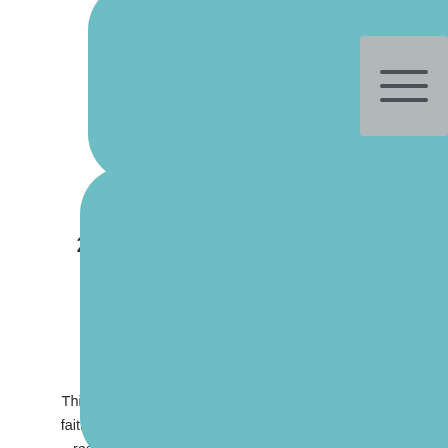[Figure (illustration): Teal rounded rectangle decorative element at top of page]
[Figure (illustration): Gray hamburger menu button icon in top right corner]
21-Day Residue Free Journal
Healing from Rejection
Printable
This printable is geared to help women to use their faith and clear the residue from their life to become residue free. The journal guides you to work on your mindset along with being all God has called you to be in this next chapter in your life.
[Figure (illustration): Teal rounded rectangle decorative element at bottom of page]